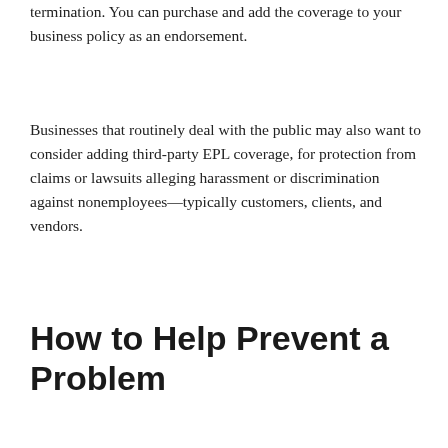termination. You can purchase and add the coverage to your business policy as an endorsement.
Businesses that routinely deal with the public may also want to consider adding third-party EPL coverage, for protection from claims or lawsuits alleging harassment or discrimination against nonemployees—typically customers, clients, and vendors.
How to Help Prevent a Problem